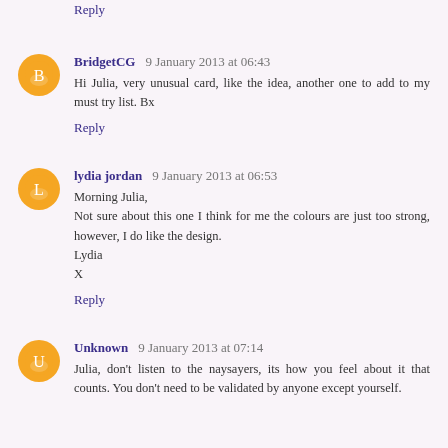Reply
BridgetCG  9 January 2013 at 06:43
Hi Julia, very unusual card, like the idea, another one to add to my must try list. Bx
Reply
lydia jordan  9 January 2013 at 06:53
Morning Julia,
Not sure about this one I think for me the colours are just too strong, however, I do like the design.
Lydia
X
Reply
Unknown  9 January 2013 at 07:14
Julia, don't listen to the naysayers, its how you feel about it that counts. You don't need to be validated by anyone except yourself.